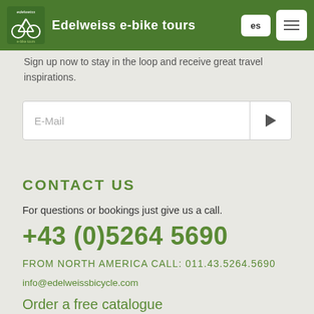Edelweiss e-bike tours
Sign up now to stay in the loop and receive great travel inspirations.
E-Mail
CONTACT US
For questions or bookings just give us a call.
+43 (0)5264 5690
FROM NORTH AMERICA CALL: 011.43.5264.5690
info@edelweissbicycle.com
Order a free catalogue